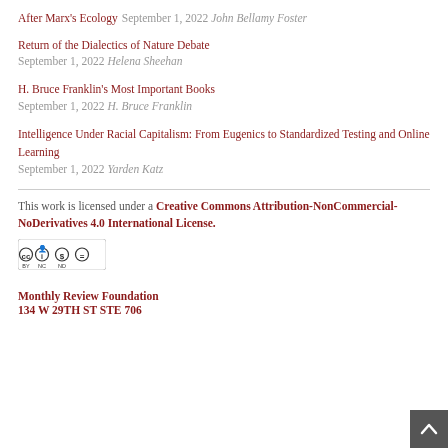After Marx's Ecology September 1, 2022 John Bellamy Foster
Return of the Dialectics of Nature Debate September 1, 2022 Helena Sheehan
H. Bruce Franklin's Most Important Books September 1, 2022 H. Bruce Franklin
Intelligence Under Racial Capitalism: From Eugenics to Standardized Testing and Online Learning September 1, 2022 Yarden Katz
This work is licensed under a Creative Commons Attribution-NonCommercial-NoDerivatives 4.0 International License.
[Figure (logo): Creative Commons BY NC ND license badge]
Monthly Review Foundation
134 W 29TH ST STE 706